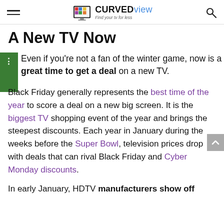CurvedView — Find your tv for less
A New TV Now
Even if you're not a fan of the winter game, now is a great time to get a deal on a new TV.
Black Friday generally represents the best time of the year to score a deal on a new big screen. It is the biggest TV shopping event of the year and brings the steepest discounts. Each year in January during the weeks before the Super Bowl, television prices drop with deals that can rival Black Friday and Cyber Monday discounts.
In early January, HDTV manufacturers show off